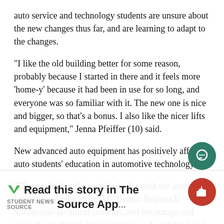auto service and technology students are unsure about the new changes thus far, and are learning to adapt to the changes.
"I like the old building better for some reason, probably because I started in there and it feels more 'home-y' because it had been in use for so long, and everyone was so familiar with it. The new one is nice and bigger, so that's a bonus. I also like the nicer lifts and equipment," Jenna Pfeiffer (10) said.
New advanced auto equipment has positively affected auto students' education in automotive technology.
"[The technology] has helped a lot with the level of learning and education [Mr. Dennis Brannock, Vocational-Technical students, and encourage and show the students what's out there and not limit level of education because we didn't have certain